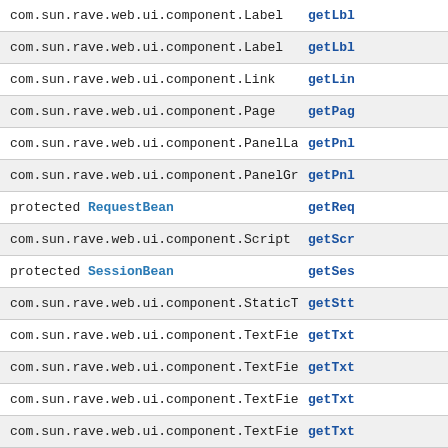| Type | Method |
| --- | --- |
| com.sun.rave.web.ui.component.Label | getLbl… |
| com.sun.rave.web.ui.component.Label | getLbl… |
| com.sun.rave.web.ui.component.Link | getLin… |
| com.sun.rave.web.ui.component.Page | getPag… |
| com.sun.rave.web.ui.component.PanelLayout | getPnl… |
| com.sun.rave.web.ui.component.PanelGroup | getPnl… |
| protected RequestBean | getReq… |
| com.sun.rave.web.ui.component.Script | getScr… |
| protected SessionBean | getSes… |
| com.sun.rave.web.ui.component.StaticText | getStt… |
| com.sun.rave.web.ui.component.TextField | getTxt… |
| com.sun.rave.web.ui.component.TextField | getTxt… |
| com.sun.rave.web.ui.component.TextField | getTxt… |
| com.sun.rave.web.ui.component.TextField | getTxt… |
| com.sun.rave.web.ui.component.PanelLayout | getUp… |